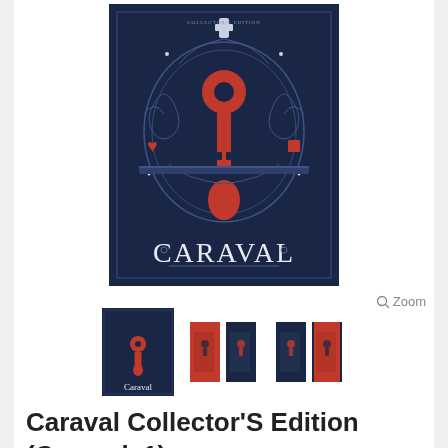[Figure (illustration): Book cover of Caraval Collector's Edition — dark navy blue background with intricate ornate engraving-style illustration featuring a large red keyhole shape in the center, decorative scrollwork, a silhouette cameo, hearts and other suit symbols, and the title CARAVAL in white serif text at the bottom]
[Figure (illustration): Three thumbnail images of the Caraval book: first showing the full front cover in navy and red, second showing two red/navy book spines side by side, third showing two navy/red book spines side by side]
Caraval Collector'S Edition (Caraval, 1)